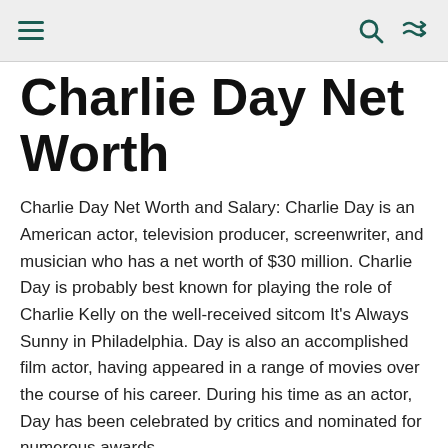Charlie Day Net Worth — navigation bar with menu, search, and shuffle icons
Charlie Day Net Worth
Charlie Day Net Worth and Salary: Charlie Day is an American actor, television producer, screenwriter, and musician who has a net worth of $30 million. Charlie Day is probably best known for playing the role of Charlie Kelly on the well-received sitcom It's Always Sunny in Philadelphia. Day is also an accomplished film actor, having appeared in a range of movies over the course of his career. During his time as an actor, Day has been celebrated by critics and nominated for numerous awards.
Charlie Day Wealth